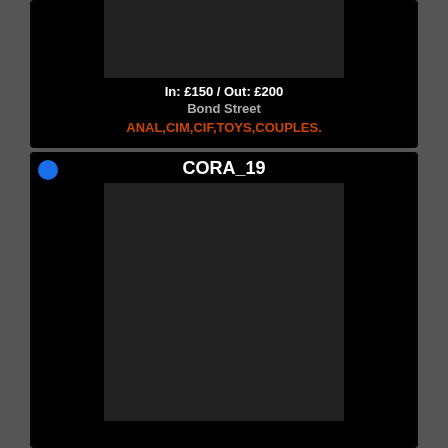[Figure (photo): Partial photo of a woman in dark outfit, cropped torso view]
In: £150 / Out: £200
Bond Street
ANAL,CIM,CIF,TOYS,COUPLES.
CORA_19
[Figure (photo): Young woman with dark hair in pigtails, partially unclothed, posing]